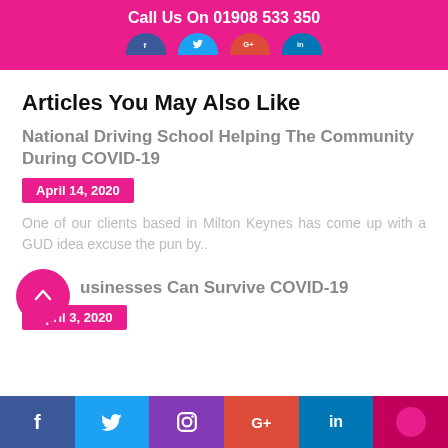Call Us On 01908 533 350
[Figure (illustration): Social media icons (Facebook, Twitter, Google+, LinkedIn) shown as half-circle shapes on pink background]
Articles You May Also Like
National Driving School Helping The Community During COVID-19
April 14, 2020
One of our clients based in Milton Keynes has come up with a GUD idea excuse the pun by..
usinesses Can Survive COVID-19
April 3, 2020
f  Twitter  Instagram  G+  in  [pink circle]